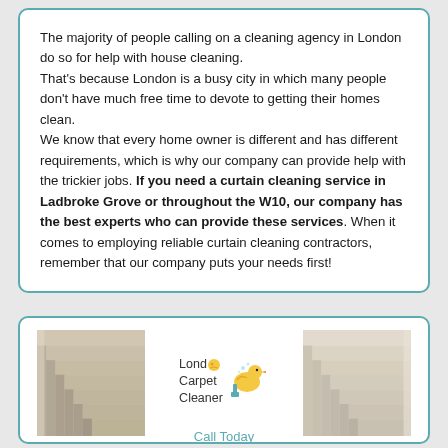The majority of people calling on a cleaning agency in London do so for help with house cleaning.
That's because London is a busy city in which many people don't have much free time to devote to getting their homes clean.
We know that every home owner is different and has different requirements, which is why our company can provide help with the trickier jobs. If you need a curtain cleaning service in Ladbroke Grove or throughout the W10, our company has the best experts who can provide these services. When it comes to employing reliable curtain cleaning contractors, remember that our company puts your needs first!
[Figure (photo): Photo of carpeted stairs (before cleaning), left side]
[Figure (logo): London Carpet Cleaner logo with duck mascot]
Call Today
[Figure (photo): Photo of carpeted stairs (after cleaning), right side]